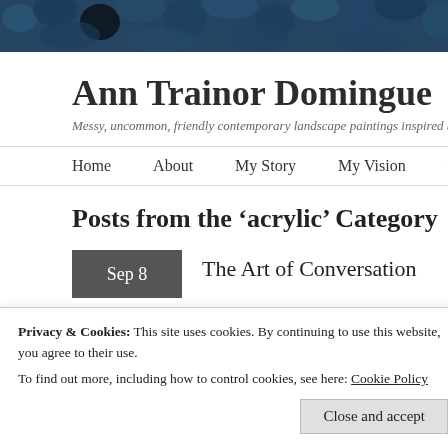[Figure (photo): Dark blue textured header image, appears to be a close-up of blue foliage or similar natural texture.]
Ann Trainor Domingue
Messy, uncommon, friendly contemporary landscape paintings inspired by
Home   About   My Story   My Vision   Website   M
Posts from the ‘acrylic’ Category
Sep 8
The Art of Conversation
Privacy & Cookies: This site uses cookies. By continuing to use this website, you agree to their use.
To find out more, including how to control cookies, see here: Cookie Policy
Close and accept